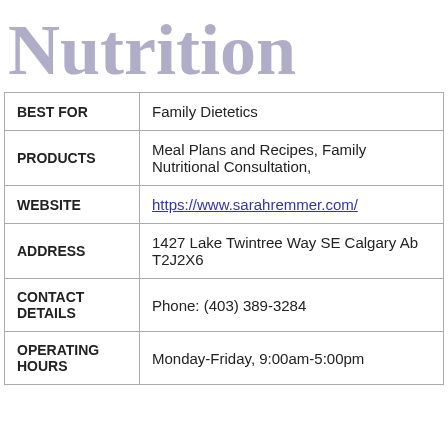Nutrition
| Field | Value |
| --- | --- |
| BEST FOR | Family Dietetics |
| PRODUCTS | Meal Plans and Recipes, Family Nutritional Consultation, |
| WEBSITE | https://www.sarahremmer.com/ |
| ADDRESS | 1427 Lake Twintree Way SE Calgary Ab T2J2X6 |
| CONTACT DETAILS | Phone: (403) 389-3284 |
| OPERATING HOURS | Monday-Friday, 9:00am-5:00pm |